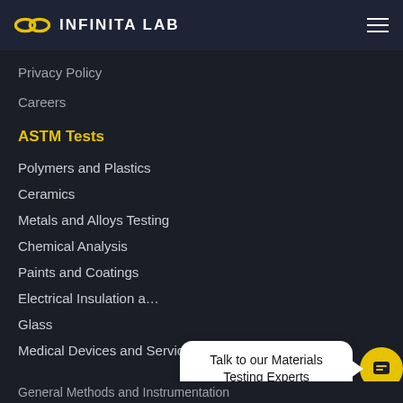INFINITA LAB
Privacy Policy
Careers
ASTM Tests
Polymers and Plastics
Ceramics
Metals and Alloys Testing
Chemical Analysis
Paints and Coatings
Electrical Insulation a…
Glass
Medical Devices and Services
General Methods and Instrumentation
[Figure (screenshot): Chat widget popup saying 'Talk to our Materials Testing Experts' with a yellow circular chat button and reCAPTCHA badge]